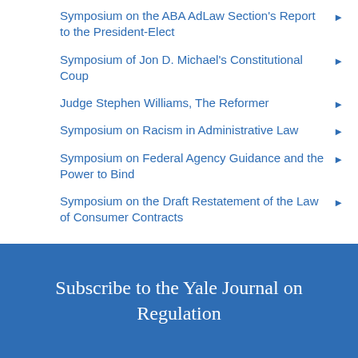Symposium on the ABA AdLaw Section's Report to the President-Elect
Symposium of Jon D. Michael's Constitutional Coup
Judge Stephen Williams, The Reformer
Symposium on Racism in Administrative Law
Symposium on Federal Agency Guidance and the Power to Bind
Symposium on the Draft Restatement of the Law of Consumer Contracts
Subscribe to the Yale Journal on Regulation